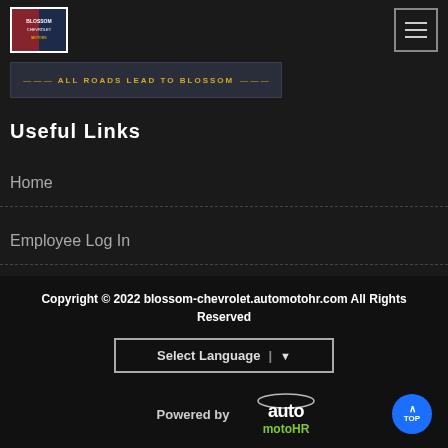[Figure (logo): Blossom Chevrolet logo in white box]
[Figure (screenshot): Hamburger menu button (three horizontal lines) in bordered box]
[Figure (photo): Dark banner image with text ALL ROADS LEAD TO BLOSSOM in gold with decorative lines]
Useful Links
Home
Employee Log In
Copyright © 2022 blossom-chevrolet.automotohr.com All Rights Reserved
Select Language | ▼
Powered by
[Figure (logo): AutomotoHR logo: auto in white bold letters with green motoHR text]